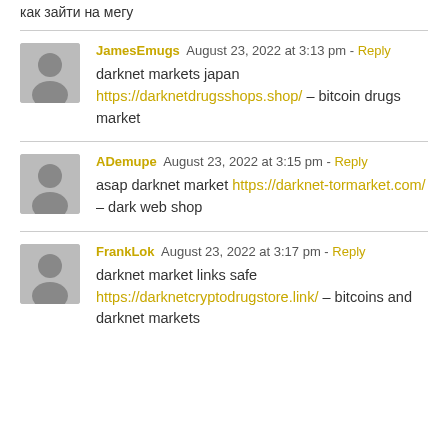как зайти на мегу
JamesEmugs  August 23, 2022 at 3:13 pm - Reply
darknet markets japan https://darknetdrugsshops.shop/ – bitcoin drugs market
ADemupe  August 23, 2022 at 3:15 pm - Reply
asap darknet market https://darknet-tormarket.com/ – dark web shop
FrankLok  August 23, 2022 at 3:17 pm - Reply
darknet market links safe https://darknetcryptodrugstore.link/ – bitcoins and darknet markets